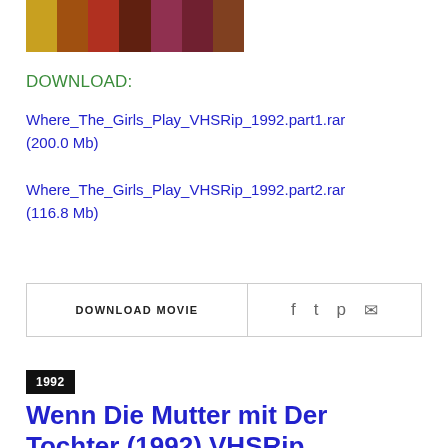[Figure (photo): Thumbnail strip of movie stills showing multiple scenes]
DOWNLOAD:
Where_The_Girls_Play_VHSRip_1992.part1.rar (200.0 Mb)
Where_The_Girls_Play_VHSRip_1992.part2.rar (116.8 Mb)
DOWNLOAD MOVIE
1992
Wenn Die Mutter mit Der Tochter (1992) VHSRip